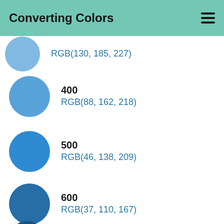Converting Colors
RGB(130, 185, 227)
400
RGB(88, 162, 218)
500
RGB(46, 138, 209)
600
RGB(37, 110, 167)
700
RGB(28, 83, 125)